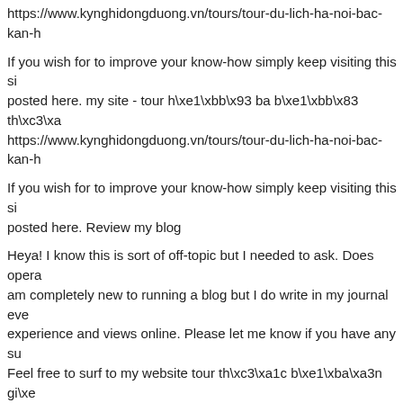https://www.kynghidongduong.vn/tours/tour-du-lich-ha-noi-bac-kan-h
If you wish for to improve your know-how simply keep visiting this sit posted here. my site - tour h\xe1\xbb\x93 ba b\xe1\xbb\x83 th\xc3\xa https://www.kynghidongduong.vn/tours/tour-du-lich-ha-noi-bac-kan-h
If you wish for to improve your know-how simply keep visiting this sit posted here. Review my blog
Heya! I know this is sort of off-topic but I needed to ask. Does opera am completely new to running a blog but I do write in my journal eve experience and views online. Please let me know if you have any su Feel free to surf to my website tour th\xc3\xa1c b\xe1\xba\xa3n gi\xe lich-ha-noi-bac-kan-ho-ba-be-cao-bang-hang-pac-bo-thac-ban-gioc.
Heya! I know this is sort of off-topic but I needed to ask. Does opera am completely new to running a blog but I do write in my journal eve experience and views online. Please let me know if you have any su Feel free to surf to my blog: tour th\xc3\xa1c b\xe1\xba\xa3n gi\xe1\ lich-ha-noi-bac-kan-ho-ba-be-cao-bang-hang-pac-bo-thac-ban-gioc.
Howdy! Would you mind if I share your blog with my twitter group? T content. Please let me know. Cheers Review my homepage - tour h\ gi\xe1\xbb\x91c - https://www.kynghidongduong.vn/tours/tour-du-lich gioc.html